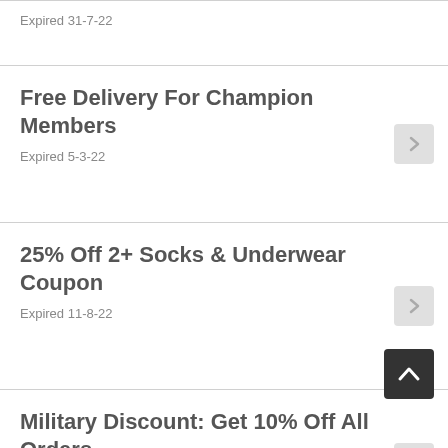Expired 31-7-22
Free Delivery For Champion Members
Expired 5-3-22
25% Off 2+ Socks & Underwear Coupon
Expired 11-8-22
Military Discount: Get 10% Off All Orders
Expired 14-6-22